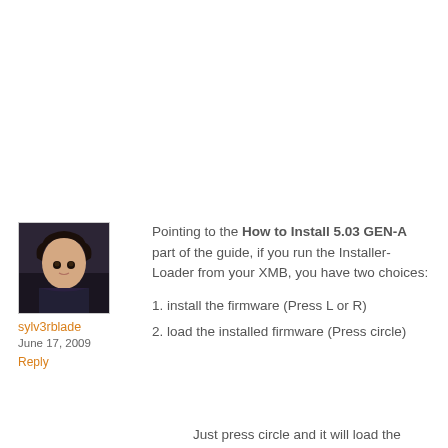[Figure (photo): Anime-style avatar image of a dark-haired character]
sylv3rblade
June 17, 2009
Reply
Pointing to the How to Install 5.03 GEN-A part of the guide, if you run the Installer-Loader from your XMB, you have two choices:
1. install the firmware (Press L or R)
2. load the installed firmware (Press circle)
Just press circle and it will load the